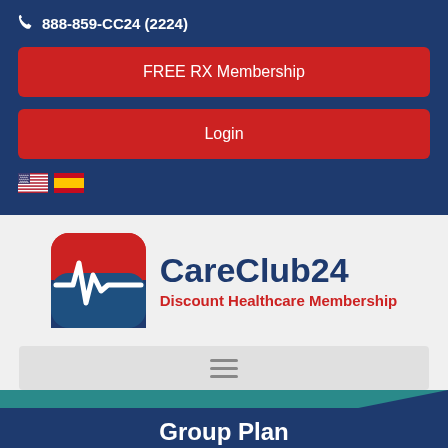888-859-CC24 (2224)
FREE RX Membership
Login
[Figure (logo): CareClub24 logo with heartbeat icon and text 'CareClub24 Discount Healthcare Membership']
[Figure (other): Hamburger menu bar]
Group Plan